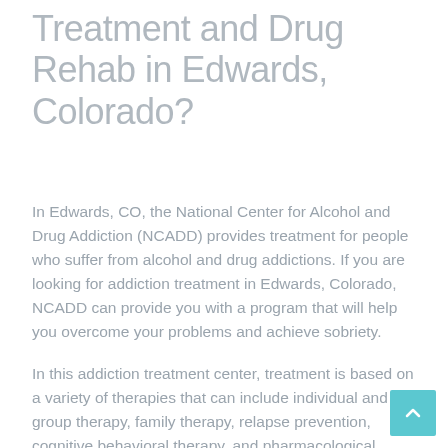Treatment and Drug Rehab in Edwards, Colorado?
In Edwards, CO, the National Center for Alcohol and Drug Addiction (NCADD) provides treatment for people who suffer from alcohol and drug addictions. If you are looking for addiction treatment in Edwards, Colorado, NCADD can provide you with a program that will help you overcome your problems and achieve sobriety.
In this addiction treatment center, treatment is based on a variety of therapies that can include individual and group therapy, family therapy, relapse prevention, cognitive behavioral therapy, and pharmacological therapy. The goal of each therapy is to teach you how to change your patterns of behavior in order to become healthier and stay that way. After you have completed treatment, you will have an individualized treatment plan that includes